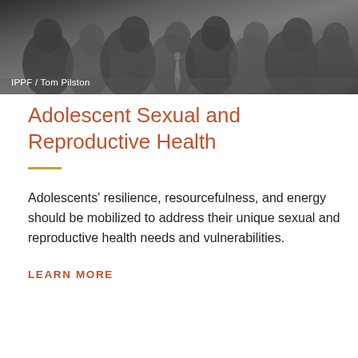[Figure (photo): Black and white photograph of a crowd of people, showing heads and upper bodies in close proximity, with one person wearing a striped tie visible.]
IPPF / Tom Pilston
Adolescent Sexual and Reproductive Health
Adolescents' resilience, resourcefulness, and energy should be mobilized to address their unique sexual and reproductive health needs and vulnerabilities.
LEARN MORE